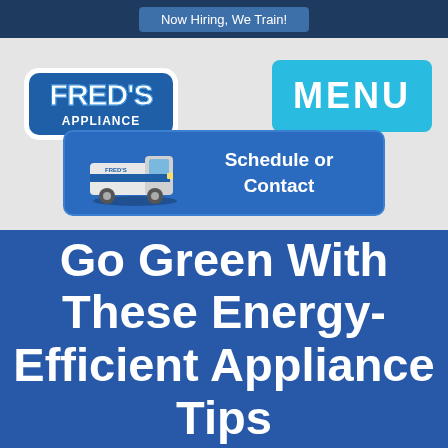Now Hiring, We Train!
[Figure (logo): Fred's Appliance logo - blue stylized text with white outline]
[Figure (other): MENU button - cyan/teal rounded rectangle with white bold text]
[Figure (other): Schedule or Contact button with Fred's appliance van image on blue rounded rectangle background]
Go Green With These Energy-Efficient Appliance Tips